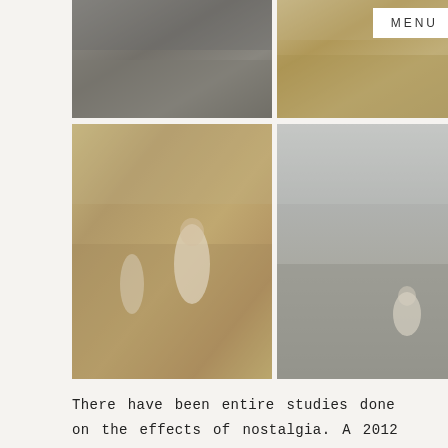[Figure (photo): Two-row photo grid showing vintage/nostalgic outdoor photographs of children in fields and landscapes, desaturated warm tones]
MENU
There have been entire studies done on the effects of nostalgia. A 2012 study in the journal Memory, Routledge et al found nostalgizing helps people relate their past experiences to their present lives in order to make greater meaning of it. The result is a boost in mood and reduced stress. It creates social connectedness